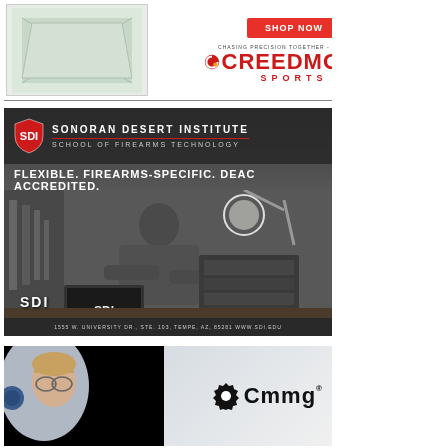[Figure (photo): Creedmoor Sports advertisement with product image on left, SHOP NOW red button, tagline 'CHASING PRECISION TOGETHER - SINCE 1979' and Creedmoor Sports logo on right]
[Figure (photo): Sonoran Desert Institute - School of Firearms Technology advertisement. Black and white photo of a man working at a gunsmith workbench with tools. Text: FLEXIBLE. FIREARMS-SPECIFIC. DEAC ACCREDITED. Address: 1555 W. University Dr., Ste. 103, Tempe, AZ, 85281 www.sdi.edu]
[Figure (photo): CMMG advertisement with partial image of person on left and CMMG logo with gear icon on right]